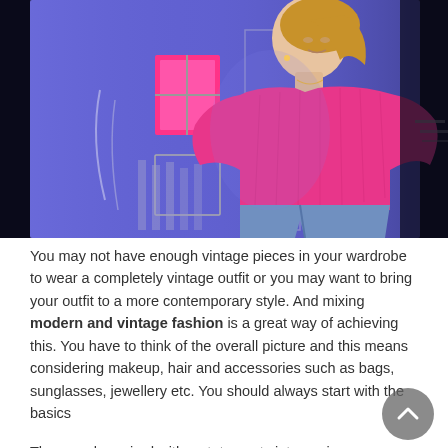[Figure (photo): A woman with blonde hair wearing a bright pink chunky knit sweater and jeans, standing against a purple/blue illuminated wall with a small pink-lit window, at night.]
You may not have enough vintage pieces in your wardrobe to wear a completely vintage outfit or you may want to bring your outfit to a more contemporary style. And mixing modern and vintage fashion is a great way of achieving this. You have to think of the overall picture and this means considering makeup, hair and accessories such as bags, sunglasses, jewellery etc. You should always start with the basics
They can be paired with a statement vintage piece